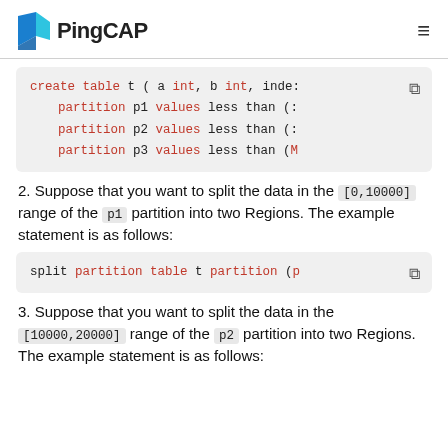PingCAP
[Figure (screenshot): Code block showing SQL create table statement with partitions p1, p2, p3 using values less than]
2. Suppose that you want to split the data in the [0,10000] range of the p1 partition into two Regions. The example statement is as follows:
[Figure (screenshot): Code block showing split partition table t partition statement]
3. Suppose that you want to split the data in the [10000,20000] range of the p2 partition into two Regions. The example statement is as follows: